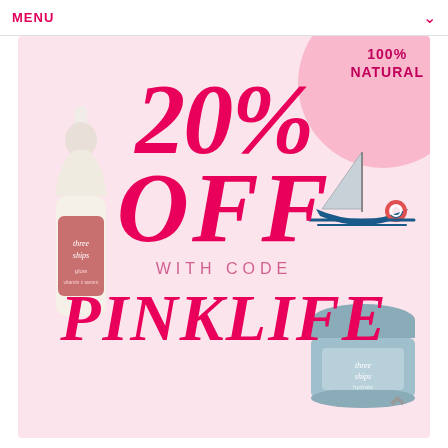MENU
[Figure (infographic): Promotional banner for Three Ships beauty brand. Pink background with '20% OFF WITH CODE PINKLIFE' text in hot pink. Left side has a serum dropper bottle labeled 'three ships'. Top right has a circle badge reading '100% NATURAL' and a sailboat illustration. Bottom right has a cream jar labeled 'three ships'. Bottom right has an upward chevron arrow.]